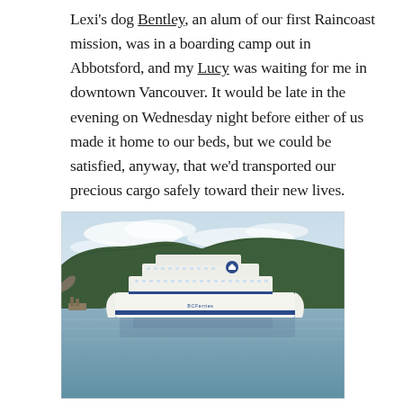Lexi's dog Bentley, an alum of our first Raincoast mission, was in a boarding camp out in Abbotsford, and my Lucy was waiting for me in downtown Vancouver. It would be late in the evening on Wednesday night before either of us made it home to our beds, but we could be satisfied, anyway, that we'd transported our precious cargo safely toward their new lives.
[Figure (photo): A BC Ferries vessel sailing on calm water with a forested hillside in the background under a partly cloudy sky. The white ferry with blue accents has 'BCFerries' written on its hull.]